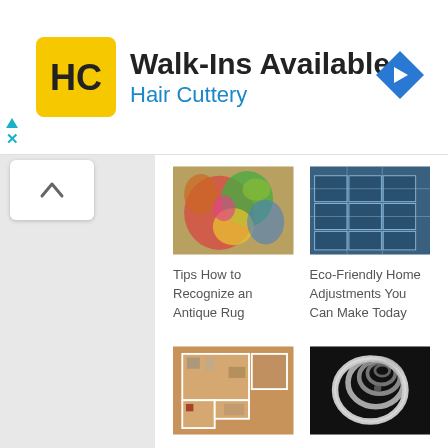[Figure (screenshot): Hair Cuttery advertisement banner with yellow HC logo, 'Walk-Ins Available' headline, 'Hair Cuttery' subtitle in blue, and blue diamond navigation arrow on right]
[Figure (photo): Colorful antique rug with floral/paisley patterns in greens, reds, and yellows]
Tips How to Recognize an Antique Rug
[Figure (photo): Solar panels on a roof photographed from above]
Eco-Friendly Home Adjustments You Can Make Today
[Figure (photo): 3D floor plan view of a home layout with rooms shown from above]
The Power of the Panoramic
[Figure (photo): Spiral energy-saving light bulb close-up on black background]
3 Ways to Make Your Home Beautiful and Efficient